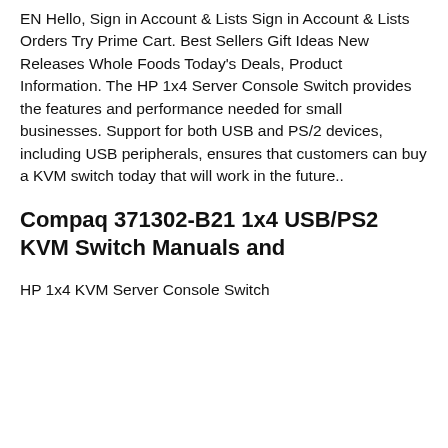EN Hello, Sign in Account & Lists Sign in Account & Lists Orders Try Prime Cart. Best Sellers Gift Ideas New Releases Whole Foods Today's Deals, Product Information. The HP 1x4 Server Console Switch provides the features and performance needed for small businesses. Support for both USB and PS/2 devices, including USB peripherals, ensures that customers can buy a KVM switch today that will work in the future..
Compaq 371302-B21 1x4 USB/PS2 KVM Switch Manuals and
HP 1x4 KVM Server Console Switch